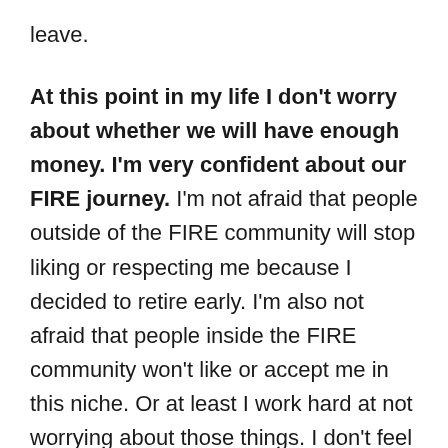leave.
At this point in my life I don't worry about whether we will have enough money. I'm very confident about our FIRE journey. I'm not afraid that people outside of the FIRE community will stop liking or respecting me because I decided to retire early. I'm also not afraid that people inside the FIRE community won't like or accept me in this niche. Or at least I work hard at not worrying about those things. I don't feel any urge to shop or own things, and the idea of personally owning luxurious possessions actually makes me a little